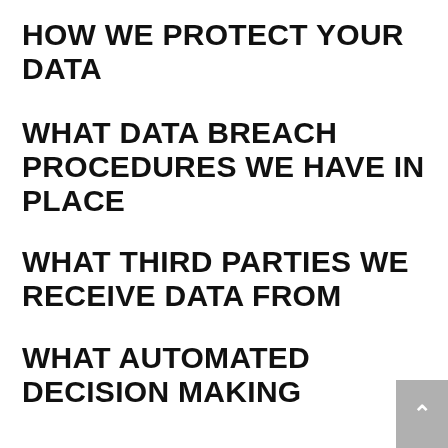HOW WE PROTECT YOUR DATA
WHAT DATA BREACH PROCEDURES WE HAVE IN PLACE
WHAT THIRD PARTIES WE RECEIVE DATA FROM
WHAT AUTOMATED DECISION MAKING